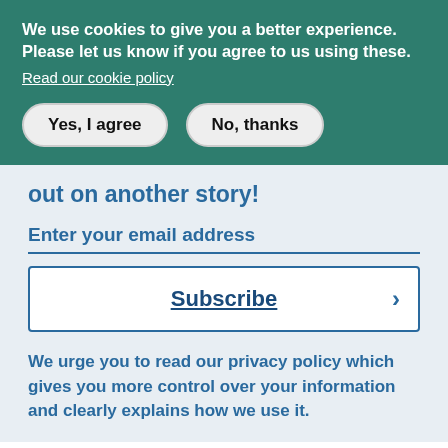We use cookies to give you a better experience. Please let us know if you agree to us using these.
Read our cookie policy
Yes, I agree
No, thanks
out on another story!
Enter your email address
Subscribe
We urge you to read our privacy policy which gives you more control over your information and clearly explains how we use it.